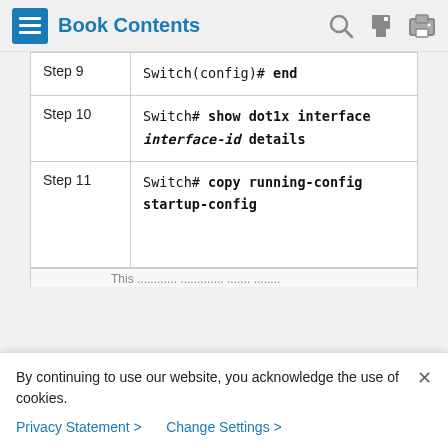Book Contents
| Step | Command |
| --- | --- |
| Step 9 | Switch(config)# end |
| Step 10 | Switch# show dot1x interface interface-id details |
| Step 11 | Switch# copy running-config startup-config |
By continuing to use our website, you acknowledge the use of cookies.
Privacy Statement > Change Settings >